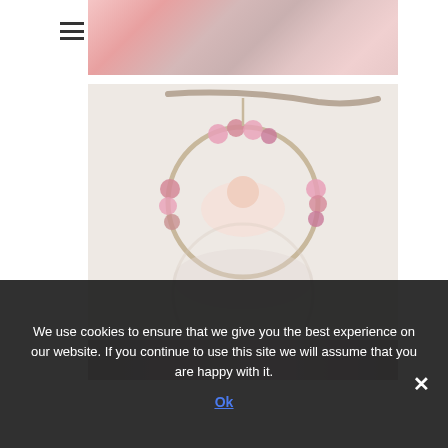[Figure (photo): Close-up photo of a newborn baby's face and hands, pink tones, resting on a soft surface]
[Figure (photo): Newborn baby sleeping inside a floral hoop/wreath suspended from a branch, with pink flowers, and a mirror reflection below]
[Figure (photo): Partial photo visible at bottom, dark tones]
We use cookies to ensure that we give you the best experience on our website. If you continue to use this site we will assume that you are happy with it.
Ok